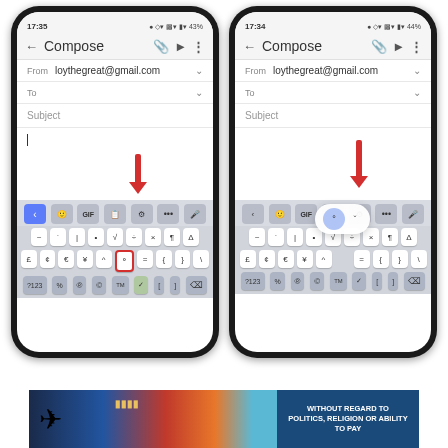[Figure (screenshot): Two side-by-side Android smartphone screenshots showing Gmail Compose screen with a special characters keyboard. Left screenshot (17:35, 43%) shows the degree symbol key highlighted with a red box and red arrow pointing to it. Right screenshot (17:34, 44%) shows a popup bubble above the degree symbol key with a red arrow pointing to it.]